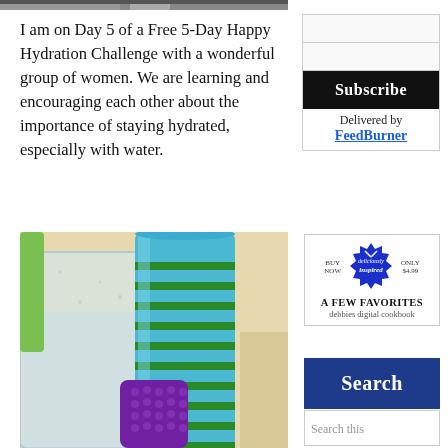[Figure (photo): Partial view of a person photo at the very top of the left column, cropped]
I am on Day 5 of a Free 5-Day Happy Hydration Challenge with a wonderful group of women.  We are learning and encouraging each other about the importance of staying hydrated, especially with water.
[Figure (photo): Close-up photo of water drinking cups/tumblers — a clear plastic cup, a blue and green striped tumbler, and a purple textured cup]
[Figure (other): Subscribe widget with two input fields, a Subscribe button, and Delivered by FeedBurner link]
[Figure (other): Advertisement for Debbie's digital cookbook 'A Few Favorites — deliciously inspired', Buy Now only $4.99]
[Figure (other): Search button (dark blue)]
[Figure (other): Search input box with placeholder text 'Search this']